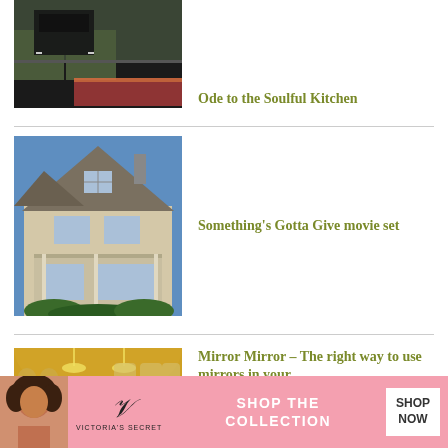[Figure (photo): Kitchen interior with dark marble countertops, green cabinetry, appliances, and a colorful rug]
Ode to the Soulful Kitchen
[Figure (photo): Exterior of a shingle-style house with large gables, covered porch, and lush green plantings, blue sky backdrop]
Something's Gotta Give movie set
[Figure (photo): Ornate gilded hall with chandeliers, mirrors, and arched windows — resembling the Hall of Mirrors at Versailles]
Mirror Mirror – The right way to use mirrors in your
[Figure (photo): Victoria's Secret advertisement: model with curly hair, VS logo, 'SHOP THE COLLECTION' text, and 'SHOP NOW' button]
SHOP THE COLLECTION
SHOP NOW
CLOSE